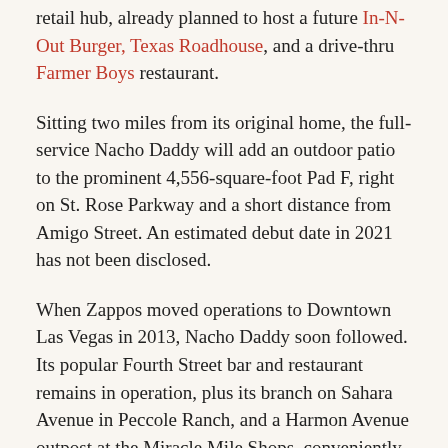retail hub, already planned to host a future In-N-Out Burger, Texas Roadhouse, and a drive-thru Farmer Boys restaurant.
Sitting two miles from its original home, the full-service Nacho Daddy will add an outdoor patio to the prominent 4,556-square-foot Pad F, right on St. Rose Parkway and a short distance from Amigo Street. An estimated debut date in 2021 has not been disclosed.
When Zappos moved operations to Downtown Las Vegas in 2013, Nacho Daddy soon followed. Its popular Fourth Street bar and restaurant remains in operation, plus its branch on Sahara Avenue in Peccole Ranch, and a Harmon Avenue outpost at the Miracle Mile Shops, conveniently close to the Strip.
An early silent partner in the restaurant chain, Hsieh has